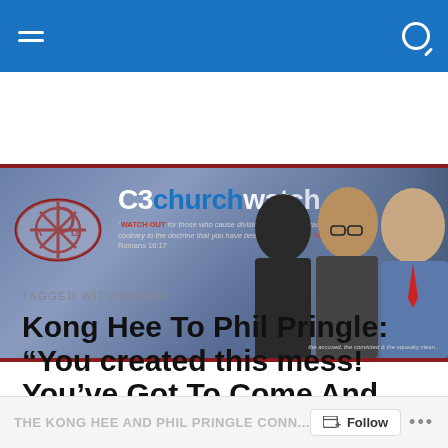[Figure (illustration): C3churchwatch website banner featuring a Chi-Rho logo on the left, the site name 'C3churchwatch' in white and blue bold text, a Bible quote about watching out for those who cause divisions, and three men's faces on the right side. Caption reads 'the accused, the convicted & the squeaky clean...']
TAGGED WITH BISHOP
Kong Hee To Phil Pringle: “You created this mess! You’ve Got To Come And Help Us Fix It”